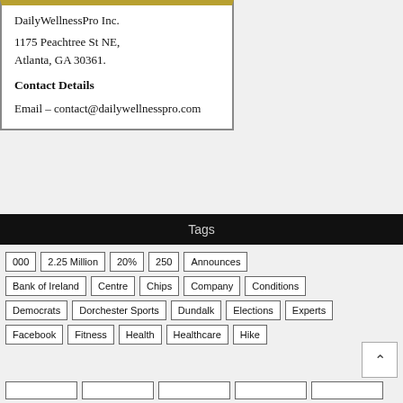DailyWellnessPro Inc.
1175 Peachtree St NE,
Atlanta, GA 30361.
Contact Details
Email – contact@dailywellnesspro.com
Tags
000
2.25 Million
20%
250
Announces
Bank of Ireland
Centre
Chips
Company
Conditions
Democrats
Dorchester Sports
Dundalk
Elections
Experts
Facebook
Fitness
Health
Healthcare
Hike